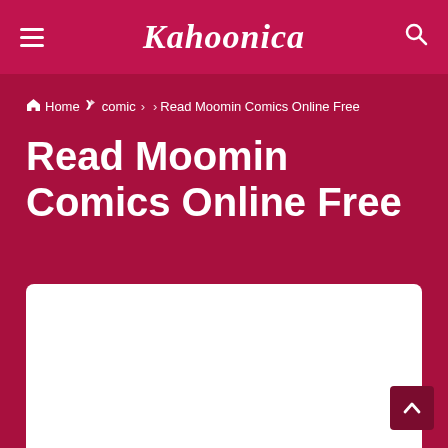Kahoonica
Home > comic > Read Moomin Comics Online Free
Read Moomin Comics Online Free
[Figure (other): White content card area placeholder]